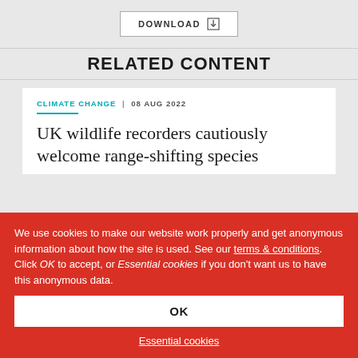[Figure (other): DOWNLOAD button with download icon]
RELATED CONTENT
CLIMATE CHANGE | 08 AUG 2022
UK wildlife recorders cautiously welcome range-shifting species
We use cookies to make our website work properly and get anonymous information about how the site is used. See our terms & conditions. Click OK to accept, or Essential cookies if you don't want us to have this anonymous data.
OK
Essential cookies